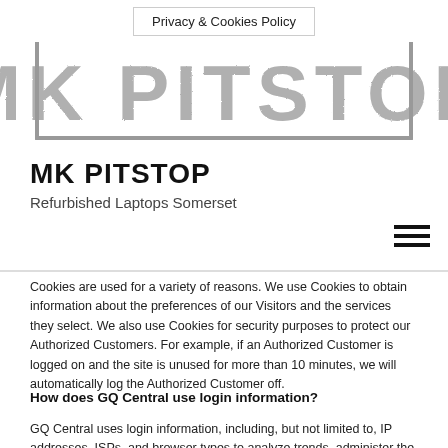Privacy & Cookies Policy
[Figure (logo): MK PITSTOP logo in large stylized grey grunge text on white background]
MK PITSTOP
Refurbished Laptops Somerset
Cookies are used for a variety of reasons. We use Cookies to obtain information about the preferences of our Visitors and the services they select. We also use Cookies for security purposes to protect our Authorized Customers. For example, if an Authorized Customer is logged on and the site is unused for more than 10 minutes, we will automatically log the Authorized Customer off.
How does GQ Central use login information?
GQ Central uses login information, including, but not limited to, IP addresses, ISPs, and browser types to analyze trends, administer the